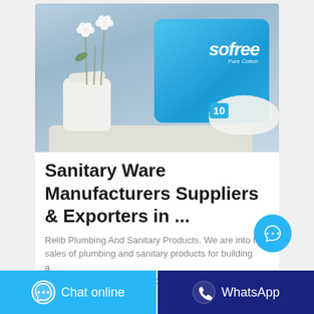[Figure (photo): Product photo of Sofree Pure Cotton sanitary pads (pack of 10) in blue packaging, displayed on a white folded cloth surface with a white vase and white flowers in the background, against a light blue background.]
Sanitary Ware Manufacturers Suppliers & Exporters in ...
Relib Plumbing And Sanitary Products. We are into the sales of plumbing and sanitary products for building and construction purposes. We do retail and wholesale. We are located in Accra Ghana. Our contacts:
Chat online
WhatsApp